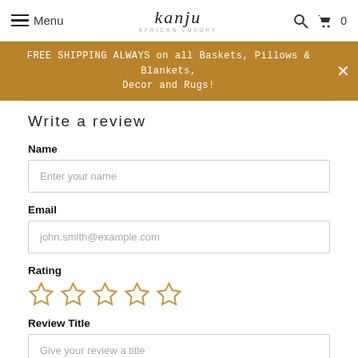Menu | kanju AFRICAN LUXURY | Search | Cart 0
FREE SHIPPING ALWAYS on all Baskets, Pillows & Blankets, Decor and Rugs!
Write a review
Name
Enter your name
Email
john.smith@example.com
Rating
[Figure (other): Five empty star rating icons in gold/amber outline]
Review Title
Give your review a title